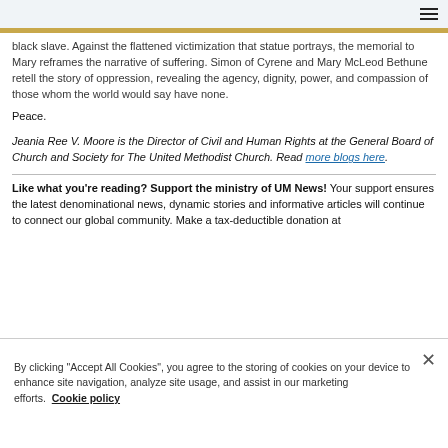black slave. Against the flattened victimization that statue portrays, the memorial to Mary reframes the narrative of suffering. Simon of Cyrene and Mary McLeod Bethune retell the story of oppression, revealing the agency, dignity, power, and compassion of those whom the world would say have none.
Peace.
Jeania Ree V. Moore is the Director of Civil and Human Rights at the General Board of Church and Society for The United Methodist Church. Read more blogs here.
Like what you're reading? Support the ministry of UM News! Your support ensures the latest denominational news, dynamic stories and informative articles will continue to connect our global community. Make a tax-deductible donation at
By clicking "Accept All Cookies", you agree to the storing of cookies on your device to enhance site navigation, analyze site usage, and assist in our marketing efforts. Cookie policy